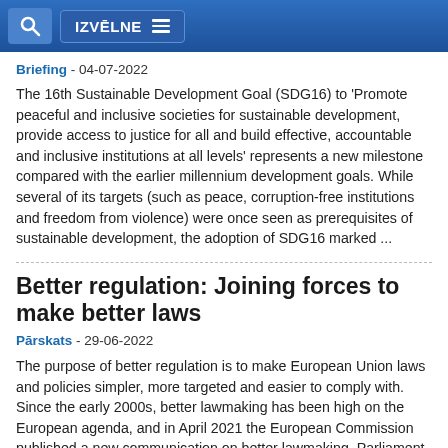IZVĒLNE
Briefing - 04-07-2022
The 16th Sustainable Development Goal (SDG16) to 'Promote peaceful and inclusive societies for sustainable development, provide access to justice for all and build effective, accountable and inclusive institutions at all levels' represents a new milestone compared with the earlier millennium development goals. While several of its targets (such as peace, corruption-free institutions and freedom from violence) were once seen as prerequisites of sustainable development, the adoption of SDG16 marked ...
Better regulation: Joining forces to make better laws
Pārskats - 29-06-2022
The purpose of better regulation is to make European Union laws and policies simpler, more targeted and easier to comply with. Since the early 2000s, better lawmaking has been high on the European agenda, and in April 2021 the European Commission published a new communication on better lawmaking. Parliament will debate and ...